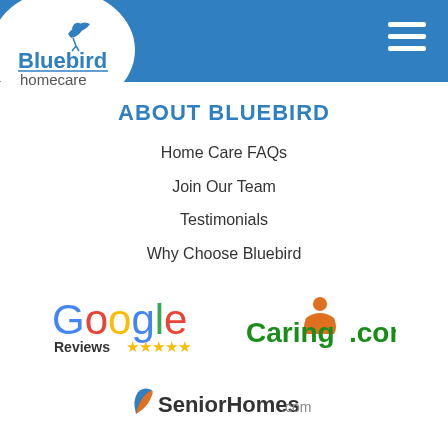[Figure (logo): Bluebird homecare logo with bird icon on white circle background]
[Figure (other): Hamburger menu icon (three white horizontal bars) on blue header]
ABOUT BLUEBIRD
Home Care FAQs
Join Our Team
Testimonials
Why Choose Bluebird
[Figure (logo): Google Reviews logo with five yellow stars]
[Figure (logo): Caring.com logo with orange person icon]
[Figure (logo): SeniorHomes.com logo with blue-orange leaf icon]